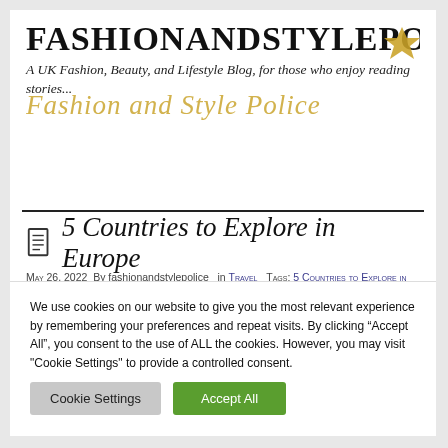FASHIONANDSTYLEPOLICE
A UK Fashion, Beauty, and Lifestyle Blog, for those who enjoy reading stories...
[Figure (logo): Decorative script logo reading 'Fashion and Style Police' in gold/tan italic cursive, with a gold star icon]
Menu
5 Countries to Explore in Europe
May 26, 2022  By fashionandstylepolice  in Travel  Tags: 5 Countries to Explore in Europe, Dublin Ireland, Dusseldorf in Germany, European
We use cookies on our website to give you the most relevant experience by remembering your preferences and repeat visits. By clicking "Accept All", you consent to the use of ALL the cookies. However, you may visit "Cookie Settings" to provide a controlled consent.
Cookie Settings   Accept All